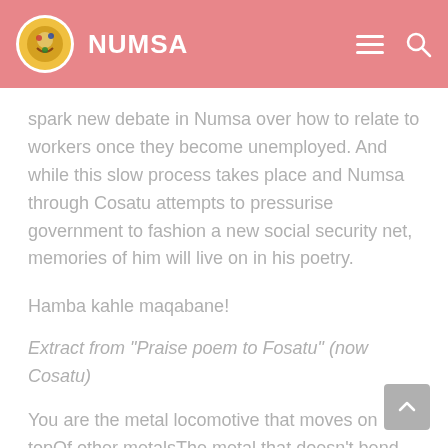NUMSA
spark new debate in Numsa over how to relate to workers once they become unemployed. And while this slow process takes place and Numsa through Cosatu attempts to pressurise government to fashion a new social security net, memories of him will live on in his poetry.
Hamba kahle maqabane!
Extract from "Praise poem to Fosatu" (now Cosatu)
You are the metal locomotive that moves on topOf other metalsThe metal that doesn't bend that was sent to theEngineers but they couldn't bend it.
Teach us Fosatu about the past organisationsBefore we came. Tell us about their...